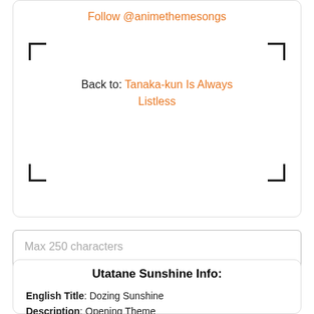Follow @animethemesongs
Back to: Tanaka-kun Is Always Listless
Max 250 characters
Add New Comment
Utatane Sunshine Info:
English Title: Dozing Sunshine
Description: Opening Theme